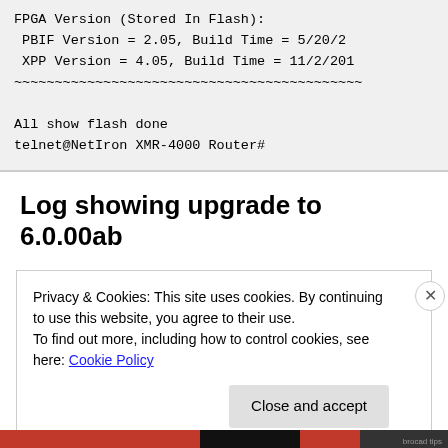FPGA Version (Stored In Flash):
 PBIF Version = 2.05, Build Time = 5/20/2
 XPP Version = 4.05, Build Time = 11/2/201
~~~~~~~~~~~~~~~~~~~~~~~~~~~~~~~~~~~~~~~~~~~~~~~~~~~~
All show flash done
telnet@NetIron XMR-4000 Router#
Log showing upgrade to 6.0.00ab
Privacy & Cookies: This site uses cookies. By continuing to use this website, you agree to their use.
To find out more, including how to control cookies, see here: Cookie Policy